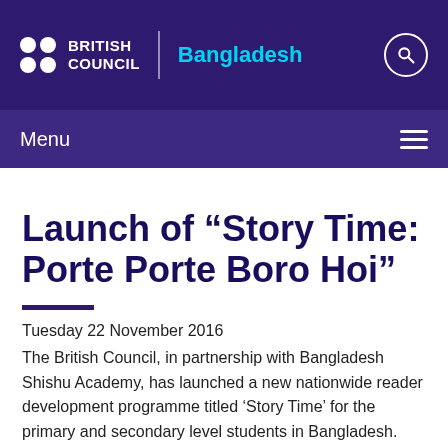BRITISH COUNCIL | Bangladesh
Menu
Launch of “Story Time: Porte Porte Boro Hoi”
Tuesday 22 November 2016
The British Council, in partnership with Bangladesh Shishu Academy, has launched a new nationwide reader development programme titled ‘Story Time’ for the primary and secondary level students in Bangladesh. This year, the programme bears the tagline ‘Porte Porte Boro Hoi’. Children from all over the country can